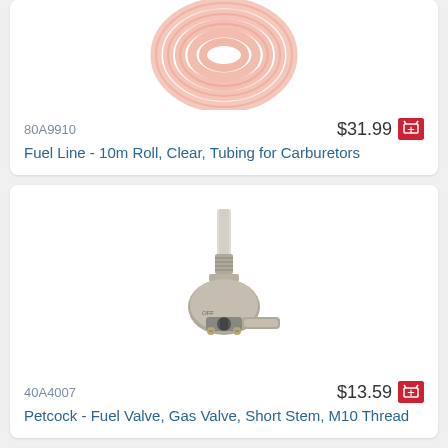[Figure (photo): Coiled clear pink/orange fuel line tubing viewed from above, showing spiral roll]
80A9910
$31.99
Fuel Line - 10m Roll, Clear, Tubing for Carburetors
[Figure (photo): Metal petcock fuel valve with short stem and M10 thread, photographed on white background]
40A4007
$13.59
Petcock - Fuel Valve, Gas Valve, Short Stem, M10 Thread